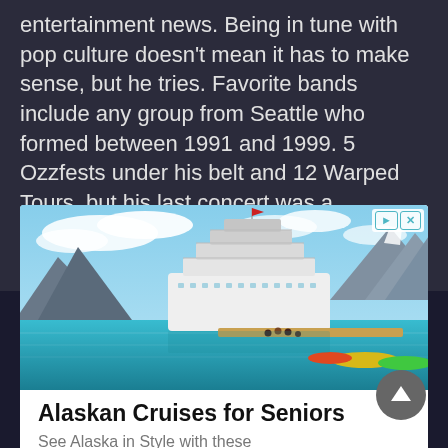entertainment news. Being in tune with pop culture doesn't mean it has to make sense, but he tries. Favorite bands include any group from Seattle who formed between 1991 and 1999. 5 Ozzfests under his belt and 12 Warped Tours, but his last concert was a bluegrass AC/DC cover band that was not 100% terrible.
[Figure (photo): Advertisement showing a large cruise ship on calm turquoise waters with mountains and glaciers in the background. Kayakers are visible near the ship.]
Alaskan Cruises for Seniors
See Alaska in Style with these